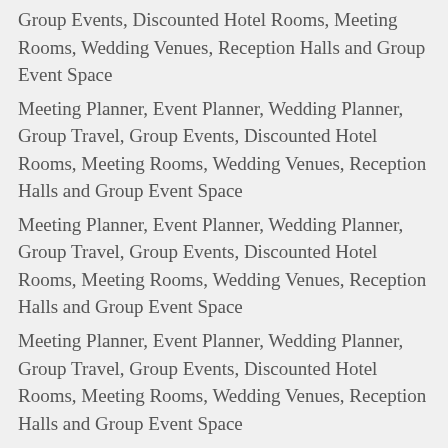Group Events, Discounted Hotel Rooms, Meeting Rooms, Wedding Venues, Reception Halls and Group Event Space
Meeting Planner, Event Planner, Wedding Planner, Group Travel, Group Events, Discounted Hotel Rooms, Meeting Rooms, Wedding Venues, Reception Halls and Group Event Space
Meeting Planner, Event Planner, Wedding Planner, Group Travel, Group Events, Discounted Hotel Rooms, Meeting Rooms, Wedding Venues, Reception Halls and Group Event Space
Meeting Planner, Event Planner, Wedding Planner, Group Travel, Group Events, Discounted Hotel Rooms, Meeting Rooms, Wedding Venues, Reception Halls and Group Event Space
Meeting Planner, Event Planner, Wedding Planner, Group Travel, Group Events, Discounted Hotel Rooms, Meeting Rooms, Wedding Venues, Reception Halls and Group Event Space
Meeting Planner, Event Planner, Wedding Planner, Group Travel, Group Events, Discounted Hotel Rooms, Meeting Rooms, Wedding Venues, Reception Halls and Group Event Space
Meeting Planner, Event Planner, Wedding Planner, Group Travel, Group Events, Discounted Hotel Rooms, Meeting Rooms, Wedding Venues, Reception Halls and Group Event Space
Meeting Planner, Event Planner, Wedding Planner, Group Travel, Group Events, Discounted Hotel Rooms, Meeting Rooms, Wedding Venues, Reception Halls and Group Event Space
Meeting Planner, Event Planner, Wedding Planner, Group Travel,